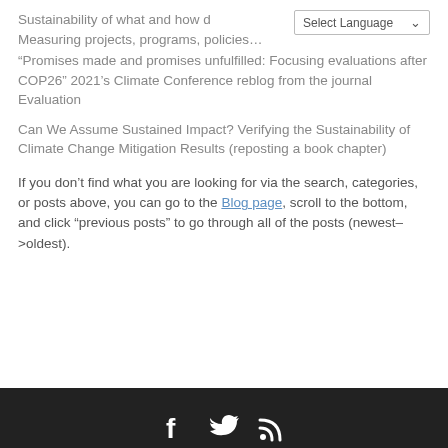Sustainability of what and how d… Measuring projects, programs, policies…
“Promises made and promises unfulfilled: Focusing evaluations after COP26” 2021’s Climate Conference reblog from the journal Evaluation
Can We Assume Sustained Impact? Verifying the Sustainability of Climate Change Mitigation Results (reposting a book chapter)
If you don’t find what you are looking for via the search, categories, or posts above, you can go to the Blog page, scroll to the bottom, and click “previous posts” to go through all of the posts (newest–>oldest).
Social media icons: Facebook, Twitter, RSS